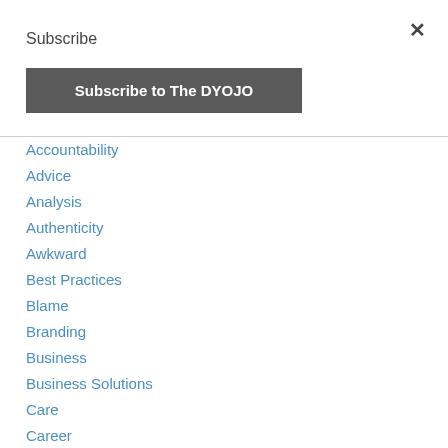×
Subscribe
Subscribe to The DYOJO
Accountability
Advice
Analysis
Authenticity
Awkward
Best Practices
Blame
Branding
Business
Business Solutions
Care
Career
Character
Claims